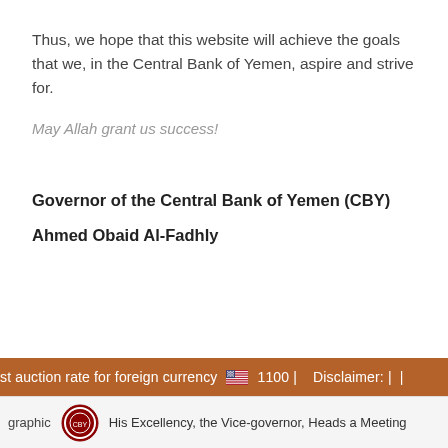Thus, we hope that this website will achieve the goals that we, in the Central Bank of Yemen, aspire and strive for.
May Allah grant us success!
Governor of the Central Bank of Yemen (CBY)
Ahmed Obaid Al-Fadhly
st auction rate for foreign currency 🇺🇸 1100 | Disclaimer: |
graphic  His Excellency, the Vice-governor, Heads a Meeting